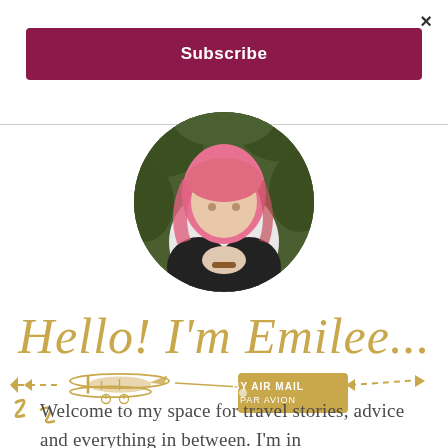×
Subscribe
[Figure (photo): Circular cropped photo of a person with pink/red hair sitting cross-legged on the ground in a garden/outdoor setting, wearing a white top and black pants]
[Figure (illustration): Handwritten golden script text reading 'Hello! I'm Emilee...' followed by a decorative air mail illustration with a vintage biplane, dashed flight path, and a golden luggage tag reading 'BY AIR MAIL PAR AVION']
Welcome to my space for travel stories, advice and everything in between. I'm in